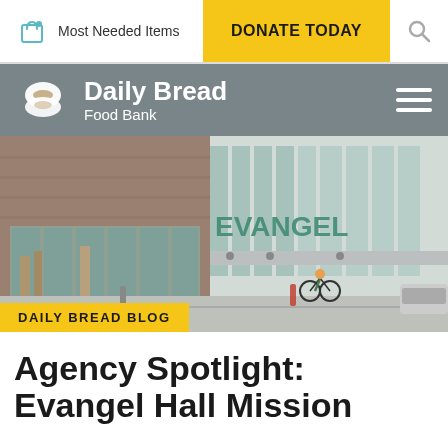Most Needed Items | DONATE TODAY
[Figure (logo): Daily Bread Food Bank logo and navigation bar with hamburger menu]
[Figure (photo): Street-level photo of an Evangel Hall Mission building with glass storefront and cyclists on the street]
DAILY BREAD BLOG
Agency Spotlight: Evangel Hall Mission